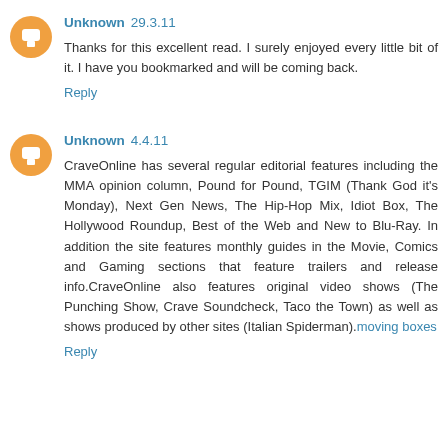Unknown 29.3.11
Thanks for this excellent read. I surely enjoyed every little bit of it. I have you bookmarked and will be coming back.
Reply
Unknown 4.4.11
CraveOnline has several regular editorial features including the MMA opinion column, Pound for Pound, TGIM (Thank God it's Monday), Next Gen News, The Hip-Hop Mix, Idiot Box, The Hollywood Roundup, Best of the Web and New to Blu-Ray. In addition the site features monthly guides in the Movie, Comics and Gaming sections that feature trailers and release info.CraveOnline also features original video shows (The Punching Show, Crave Soundcheck, Taco the Town) as well as shows produced by other sites (Italian Spiderman).moving boxes
Reply